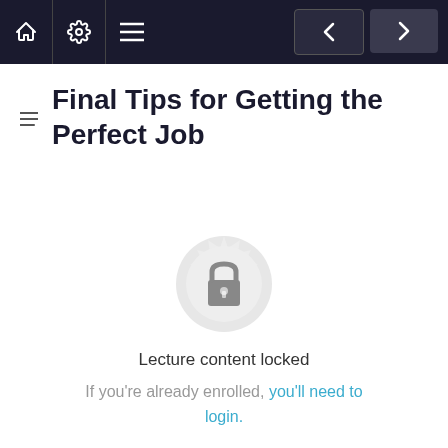Final Tips for Getting the Perfect Job
[Figure (illustration): Lock icon centered on a decorative circular badge/rosette, indicating locked lecture content]
Lecture content locked
If you're already enrolled, you'll need to login.